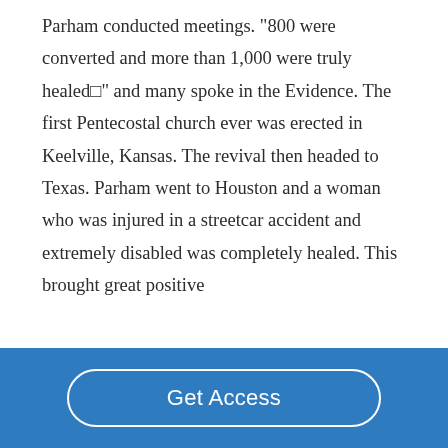Parham conducted meetings. "800 were converted and more than 1,000 were truly healed■" and many spoke in the Evidence. The first Pentecostal church ever was erected in Keelville, Kansas. The revival then headed to Texas. Parham went to Houston and a woman who was injured in a streetcar accident and extremely disabled was completely healed. This brought great positive
Get Access